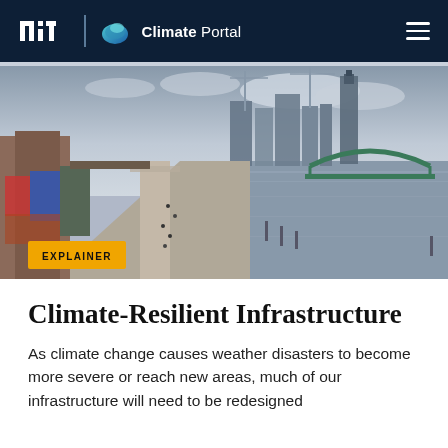MIT Climate Portal
[Figure (photo): Aerial view of a city waterfront with a river, pedestrian promenade, buildings under construction with cranes, a green arch bridge on the right, and colorful graffiti-covered walls on the left.]
EXPLAINER
Climate-Resilient Infrastructure
As climate change causes weather disasters to become more severe or reach new areas, much of our infrastructure will need to be redesigned